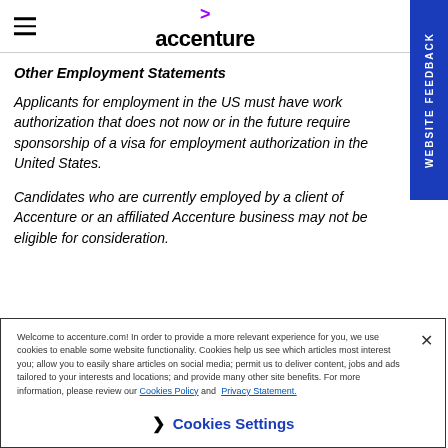accenture
Other Employment Statements
Applicants for employment in the US must have work authorization that does not now or in the future require sponsorship of a visa for employment authorization in the United States.
Candidates who are currently employed by a client of Accenture or an affiliated Accenture business may not be eligible for consideration.
Welcome to accenture.com! In order to provide a more relevant experience for you, we use cookies to enable some website functionality. Cookies help us see which articles most interest you; allow you to easily share articles on social media; permit us to deliver content, jobs and ads tailored to your interests and locations; and provide many other site benefits. For more information, please review our Cookies Policy and Privacy Statement.
Cookies Settings